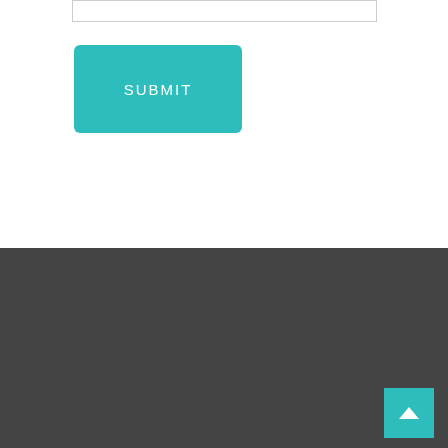[Figure (screenshot): Empty input text field with border]
[Figure (screenshot): Teal/cyan SUBMIT button]
GET THE APP ON IOS
[Figure (logo): Download on the App Store badge with Apple logo]
[Figure (screenshot): Teal scroll-to-top arrow button in bottom right corner]